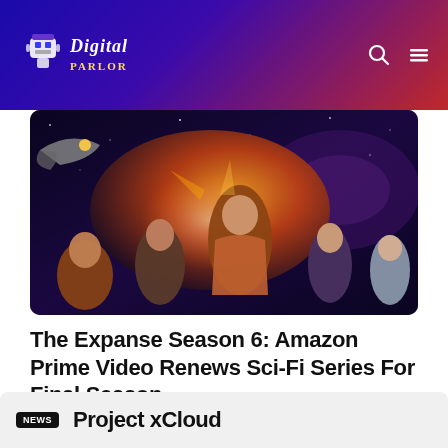Digital Parlor – site header with logo and navigation icons (search, menu)
[Figure (photo): The Expanse Season 6 promotional movie poster showing sci-fi characters against a space background with dramatic orange and cosmic lighting]
The Expanse Season 6: Amazon Prime Video Renews Sci-Fi Series For Final Season
Admin  © November 25, 2020
NEWS  Project xCloud